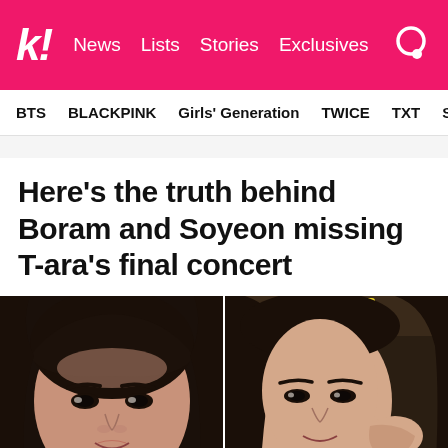k! News Lists Stories Exclusives
BTS BLACKPINK Girls' Generation TWICE TXT SEVE
Here’s the truth behind Boram and Soyeon missing T-ara’s final concert
[Figure (photo): Two side-by-side photos: left shows Boram with dark bangs and short hair looking at camera; right shows Soyeon with longer dark hair, hand near her face, with yellow signage in background.]